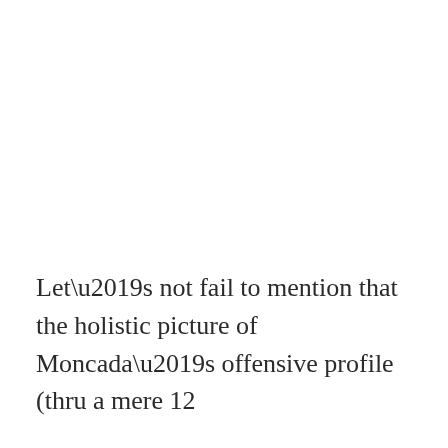Let’s not fail to mention that the holistic picture of Moncada’s offensive profile (thru a mere 12